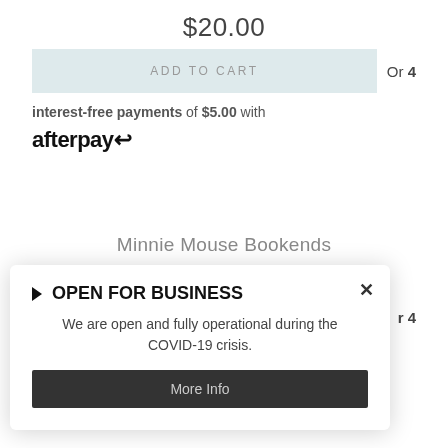$20.00
ADD TO CART
Or 4
interest-free payments of $5.00 with afterpay
Minnie Mouse Bookends
$18.00
Or 4
OPEN FOR BUSINESS
We are open and fully operational during the COVID-19 crisis.
More Info